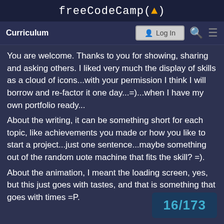freeCodeCamp(🔥)
Curriculum | Log In
You are welcome. Thanks to you for showing, sharing and asking others. I liked very much the display of skills as a cloud of icons...with your permission I think I will borrow and re-factor it one day...=)...when I have my own portfolio ready...
About the writing, it can be something short for each topic, like achievements you made or how you like to start a project...just one sentence...maybe something out of the random uote machine that fits the skill? =).
About the animation, I meant the loading screen, yes, but this just goes with tastes, and that is something that goes with times =P.
16/173